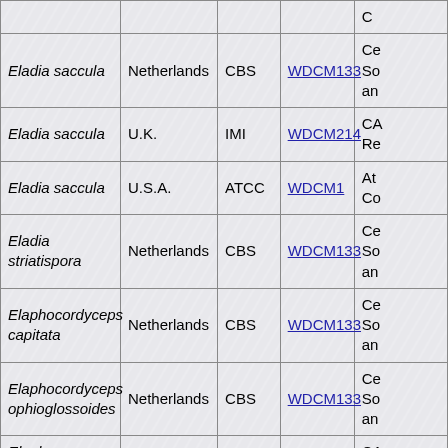| Species | Country | Collection | WDCM | Notes |
| --- | --- | --- | --- | --- |
|  |  |  |  | C... |
| Eladia saccula | Netherlands | CBS | WDCM133 | Ce So an |
| Eladia saccula | U.K. | IMI | WDCM214 | CA Re |
| Eladia saccula | U.S.A. | ATCC | WDCM1 | At Co |
| Eladia striatispora | Netherlands | CBS | WDCM133 | Ce So an |
| Elaphocordyceps capitata | Netherlands | CBS | WDCM133 | Ce So an |
| Elaphocordyceps ophioglossoides | Netherlands | CBS | WDCM133 | Ce So an |
| Elaphomyces muricatus | U.K. | IMI | WDCM214 | CA Re |
| Eleutherascus cristatus | Japan | IAM | WDCM190 | IA |
| Eleutherascus | Netherlands | CBS | WDCM133... | Ce |